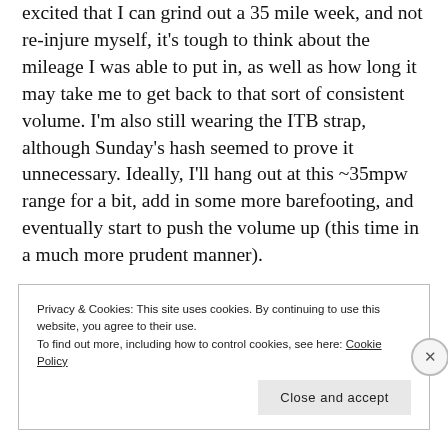excited that I can grind out a 35 mile week, and not re-injure myself, it's tough to think about the mileage I was able to put in, as well as how long it may take me to get back to that sort of consistent volume. I'm also still wearing the ITB strap, although Sunday's hash seemed to prove it unnecessary. Ideally, I'll hang out at this ~35mpw range for a bit, add in some more barefooting, and eventually start to push the volume up (this time in a much more prudent manner).
Privacy & Cookies: This site uses cookies. By continuing to use this website, you agree to their use.
To find out more, including how to control cookies, see here: Cookie Policy
Close and accept